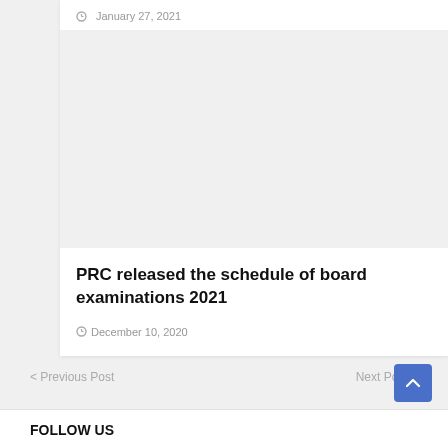January 27, 2021
[Figure (photo): Large image placeholder with light gray background]
PRC released the schedule of board examinations 2021
December 10, 2020
< Previous Post
Next Post >
FOLLOW US